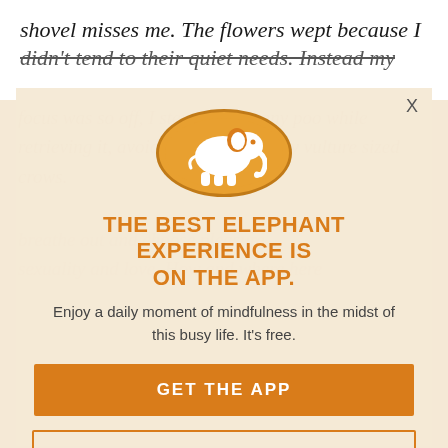shovel misses me. The flowers wept because I didn't tend to their quiet needs. Instead my
focus was so off, I stepped in bunny poo while retrieving it, avoiding being eaten by vulture sized crows.
[Figure (logo): White elephant silhouette on an orange circle]
THE BEST ELEPHANT EXPERIENCE IS ON THE APP.
Enjoy a daily moment of mindfulness in the midst of this busy life. It's free.
GET THE APP
OPEN IN APP